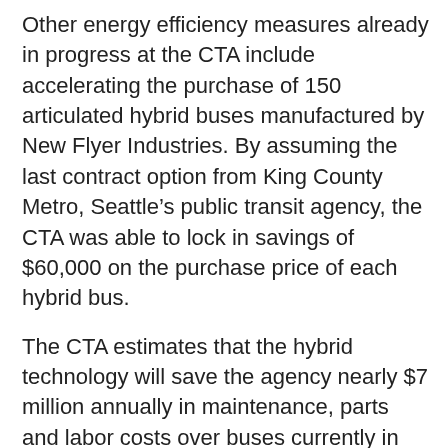Other energy efficiency measures already in progress at the CTA include accelerating the purchase of 150 articulated hybrid buses manufactured by New Flyer Industries. By assuming the last contract option from King County Metro, Seattle's public transit agency, the CTA was able to lock in savings of $60,000 on the purchase price of each hybrid bus.
The CTA estimates that the hybrid technology will save the agency nearly $7 million annually in maintenance, parts and labor costs over buses currently in service including more than $900,000 annually in fuel costs. The CTA will begin receiving the buses this summer and have all 150 by spring 2009 instead of the original schedule of late 2010.